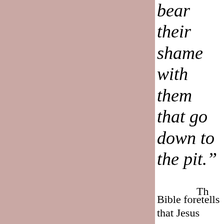[Figure (illustration): Solid dusty rose / mauve colored rectangular panel occupying the left portion of the page]
bear their shame with them that go down to the pit.”
Th
Bible foretells that Jesus